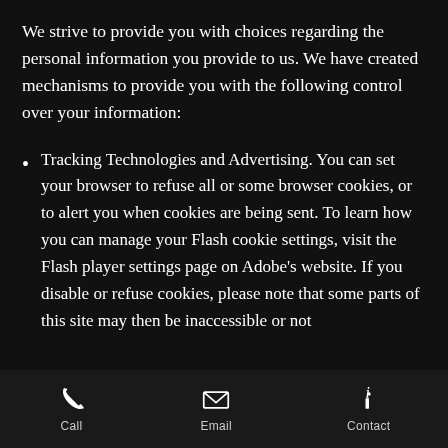We strive to provide you with choices regarding the personal information you provide to us. We have created mechanisms to provide you with the following control over your information:
Tracking Technologies and Advertising. You can set your browser to refuse all or some browser cookies, or to alert you when cookies are being sent. To learn how you can manage your Flash cookie settings, visit the Flash player settings page on Adobe's website. If you disable or refuse cookies, please note that some parts of this site may then be inaccessible or not
Call  Email  Contact